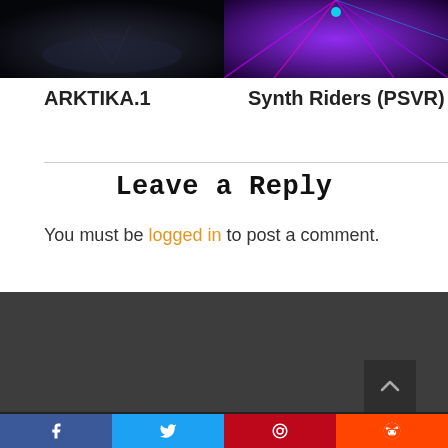[Figure (photo): Dark atmospheric screenshot of ARKTIKA.1 game]
[Figure (photo): Colorful purple/pink screenshot of Synth Riders (PSVR)]
ARKTIKA.1
Synth Riders (PSVR)
Leave a Reply
You must be logged in to post a comment.
[Figure (other): Dark footer section with back-to-top button showing upward caret]
Facebook Twitter Pinterest Reddit share buttons